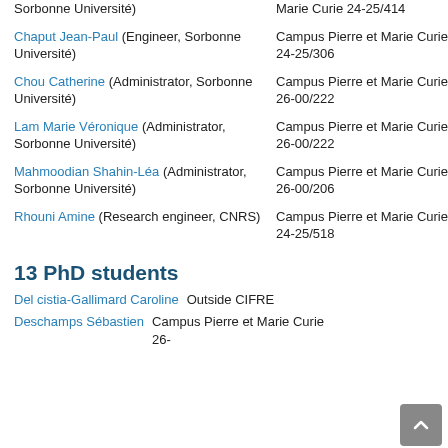Sorbonne Université) — Campus Pierre et Marie Curie 24-25/414
Chaput Jean-Paul (Engineer, Sorbonne Université) — Campus Pierre et Marie Curie 24-25/306
Chou Catherine (Administrator, Sorbonne Université) — Campus Pierre et Marie Curie 26-00/222
Lam Marie Véronique (Administrator, Sorbonne Université) — Campus Pierre et Marie Curie 26-00/222
Mahmoodian Shahin-Léa (Administrator, Sorbonne Université) — Campus Pierre et Marie Curie 26-00/206
Rhouni Amine (Research engineer, CNRS) — Campus Pierre et Marie Curie 24-25/518
13 PhD students
Del cistia-Gallimard Caroline — Outside CIFRE
Deschamps Sébastien — Campus Pierre et Marie Curie 26-